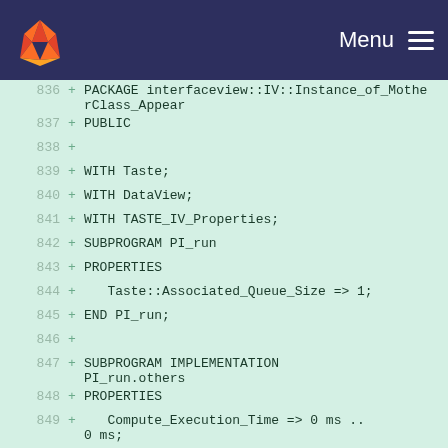GitLab — Menu
836 + PACKAGE interfaceview::IV::Instance_of_MotherClass_Appear
837 + PUBLIC
838 +
839 + WITH Taste;
840 + WITH DataView;
841 + WITH TASTE_IV_Properties;
842 + SUBPROGRAM PI_run
843 + PROPERTIES
844 +   Taste::Associated_Queue_Size => 1;
845 + END PI_run;
846 +
847 + SUBPROGRAM IMPLEMENTATION PI_run.others
848 + PROPERTIES
849 +   Compute_Execution_Time => 0 ms .. 0 ms;
850 + END PI_run.others;
851 +
852 + SYSTEM